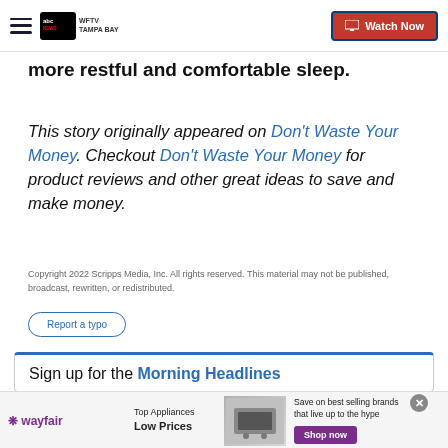WFTV TAMPA BAY — Watch Now
more restful and comfortable sleep.
This story originally appeared on Don't Waste Your Money. Checkout Don't Waste Your Money for product reviews and other great ideas to save and make money.
Copyright 2022 Scripps Media, Inc. All rights reserved. This material may not be published, broadcast, rewritten, or redistributed.
Report a typo
Sign up for the Morning Headlines
[Figure (screenshot): Wayfair advertisement banner: Top Appliances Low Prices, Save on best selling brands that live up to the hype, Shop now button]